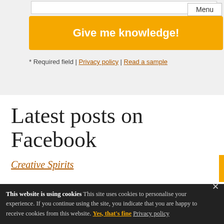[Figure (screenshot): Input field (text box) at top of form area]
Give me knowledge! [button]
* Required field | Privacy policy | Read a sample
Latest posts on Facebook
Creative Spirits
This website is using cookies This site uses cookies to personalise your experience. If you continue using the site, you indicate that you are happy to receive cookies from this website. Yes, that's fine Privacy policy